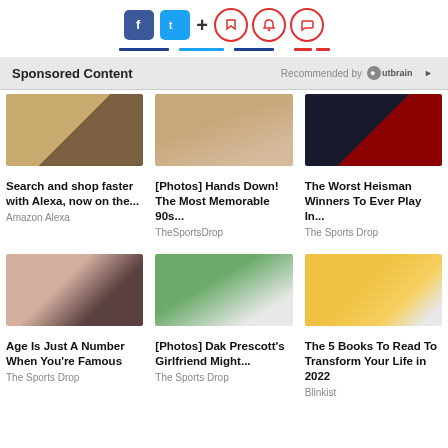[Figure (infographic): Social media icons: Facebook (blue), Twitter (blue), plus sign, and three red circular icons (bookmark, bell, chat). Below are colored underlines in blue and red.]
Sponsored Content — Recommended by Outbrain
[Figure (photo): Hand holding a smartphone showing a shopping app]
Search and shop faster with Alexa, now on the...
Amazon Alexa
[Figure (photo): Blonde woman lying down, 90s style photo]
[Photos] Hands Down! The Most Memorable 90s...
TheSportsDrop
[Figure (photo): Football player in red Sooners #18 jersey with Heisman trophy]
The Worst Heisman Winners To Ever Play In...
The Sports Drop
[Figure (photo): Two people posing together, celebrity photo]
Age Is Just A Number When You're Famous
The Sports Drop
[Figure (photo): Man and blonde woman standing together outdoors near American flag]
[Photos] Dak Prescott's Girlfriend Might...
The Sports Drop
[Figure (photo): Person holding up a book covering their face, yellow background]
The 5 Books To Read To Transform Your Life in 2022
Blinkist